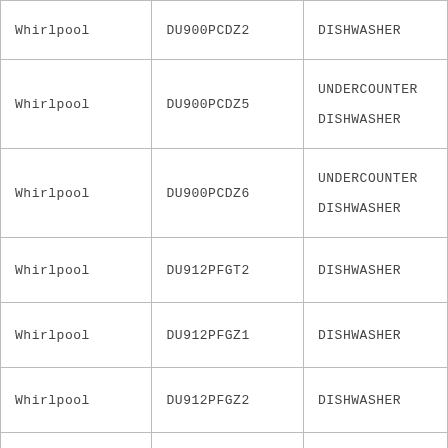| Whirlpool | DU900PCDZ2 | DISHWASHER |
| Whirlpool | DU900PCDZ5 | UNDERCOUNTER DISHWASHER |
| Whirlpool | DU900PCDZ6 | UNDERCOUNTER DISHWASHER |
| Whirlpool | DU912PFGT2 | DISHWASHER |
| Whirlpool | DU912PFGZ1 | DISHWASHER |
| Whirlpool | DU912PFGZ2 | DISHWASHER |
| Whirlpool | DU915PWPQ1 | UNDERCOUNTER DISHWASHER |